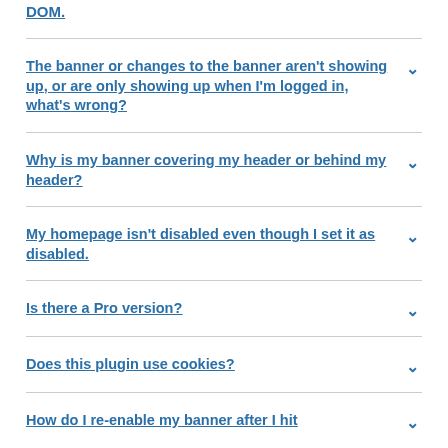DOM.
The banner or changes to the banner aren't showing up, or are only showing up when I'm logged in, what's wrong?
Why is my banner covering my header or behind my header?
My homepage isn't disabled even though I set it as disabled.
Is there a Pro version?
Does this plugin use cookies?
How do I re-enable my banner after I hit